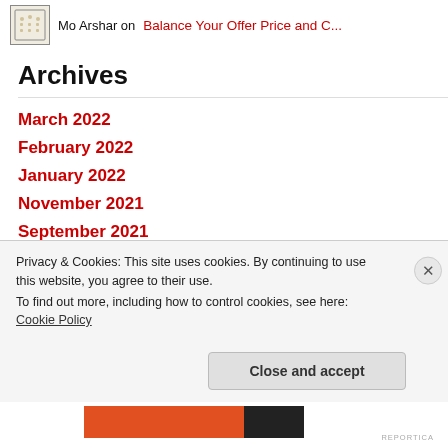Mo Arshar on Balance Your Offer Price and C...
Archives
March 2022
February 2022
January 2022
November 2021
September 2021
August 2021
July 2021
May 2021
Privacy & Cookies: This site uses cookies. By continuing to use this website, you agree to their use.
To find out more, including how to control cookies, see here:
Cookie Policy
Close and accept